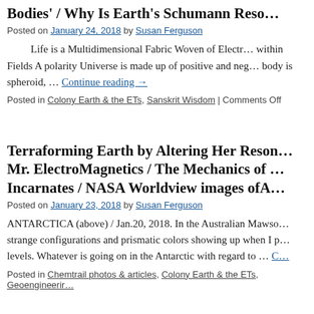Bodies' / Why Is Earth's Schumann Reso…
Posted on January 24, 2018 by Susan Ferguson
Life is a Multidimensional Fabric Woven of Electr… within Fields A polarity Universe is made up of positive and neg… body is spheroid, … Continue reading →
Posted in Colony Earth & the ETs, Sanskrit Wisdom | Comments Off
Terraforming Earth by Altering Her Reson… Mr. ElectroMagnetics / The Mechanics of … Incarnates / NASA Worldview images ofA…
Posted on January 23, 2018 by Susan Ferguson
ANTARCTICA (above) / Jan.20, 2018. In the Australian Mawso… strange configurations and prismatic colors showing up when I p… levels. Whatever is going on in the Antarctic with regard to … C…
Posted in Chemtrail photos & articles, Colony Earth & the ETs, Geoengineerir…